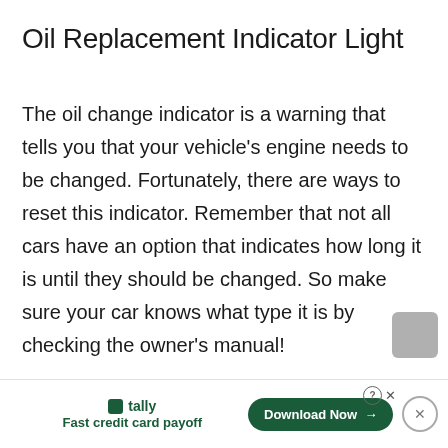Oil Replacement Indicator Light
The oil change indicator is a warning that tells you that your vehicle’s engine needs to be changed. Fortunately, there are ways to reset this indicator. Remember that not all cars have an option that indicates how long it is until they should be changed. So make sure your car knows what type it is by checking the owner’s manual!
tally  Fast credit card payoff  Download Now →